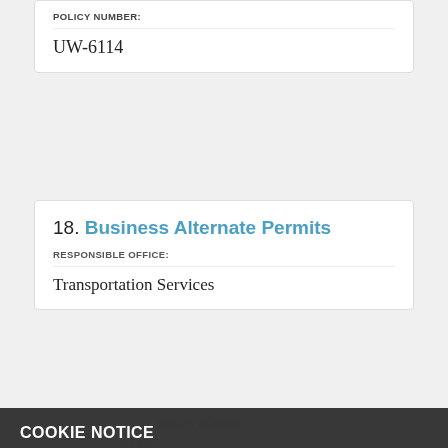POLICY NUMBER:
UW-6114
18. Business Alternate Permits
RESPONSIBLE OFFICE:
Transportation Services
COOKIE NOTICE
We use cookies on this site to enhance your experience and improve our library services. By continuing to browse without changing your browser settings to block or delete cookies, you agree to the storing of cookies and related technologies on your device. UW–Madison Privacy Notice
GOT IT!